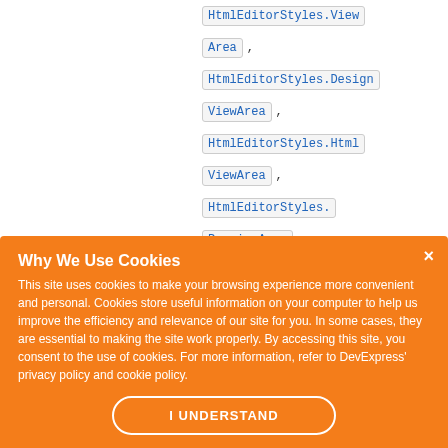HtmlEditorStyles.ViewArea , HtmlEditorStyles.DesignViewArea , HtmlEditorStyles.HtmlViewArea , HtmlEditorStyles.PreviewArea
Why We Use Cookies
This site uses cookies to make your browsing experience more convenient and personal. Cookies store useful information on your computer to help us improve the efficiency and relevance of our site for you. In some cases, they are essential to making the site work properly. By accessing this site, you consent to the use of cookies. For more information, refer to DevExpress' privacy policy and cookie policy.
I UNDERSTAND